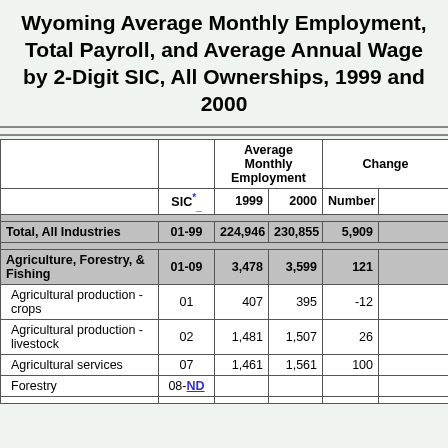Wyoming Average Monthly Employment, Total Payroll, and Average Annual Wage by 2-Digit SIC, All Ownerships, 1999 and 2000
|  | SIC* | 1999 | 2000 | Number |  |
| --- | --- | --- | --- | --- | --- |
| Total, All Industries | 01-99 | 224,946 | 230,855 | 5,909 |  |
| Agriculture, Forestry, & Fishing | 01-09 | 3,478 | 3,599 | 121 |  |
| Agricultural production - crops | 01 | 407 | 395 | -12 |  |
| Agricultural production - livestock | 02 | 1,481 | 1,507 | 26 |  |
| Agricultural services | 07 | 1,461 | 1,561 | 100 |  |
| Forestry | 08-ND |  |  |  |  |